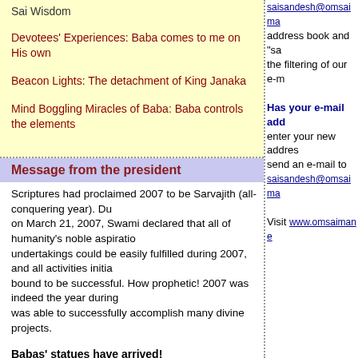Sai Wisdom
Devotees' Experiences: Baba comes to me on His own
Beacon Lights: The detachment of King Janaka
Mind Boggling Miracles of Baba: Baba controls the elements
saisandesh@omsaima... address book and "sa... the filtering of our e-m...
Has your e-mail add... enter your new addres... send an e-mail to saisandesh@omsaima...
Visit www.omsaimane...
Message from the president
Scriptures had proclaimed 2007 to be Sarvajith (all-conquering year). Du... on March 21, 2007, Swami declared that all of humanity's noble aspiratio... undertakings could be easily fulfilled during 2007, and all activities initia... bound to be successful. How prophetic! 2007 was indeed the year during... was able to successfully accomplish many divine projects.
Babas' statues have arrived!
After more than four years of intense efforts and numerous visits to India... Shirdi Sai Baba and Sathya Sai Baba have finally been installed at the te... prathistha/sthapna and unveiling ceremonies were performed on a grand... 2007, Swami's 82nd birthday. Their beauty and radiance surpasses all hu... cannot be adequately put into words. All are welcome to take Sai's darsha...
Rudra Abhishekam
Yet another divine task was initiated on June 11, 2007. On this holy Ekad... of Hindu calendar), we started performing Rudra Abhishekam alway ti...